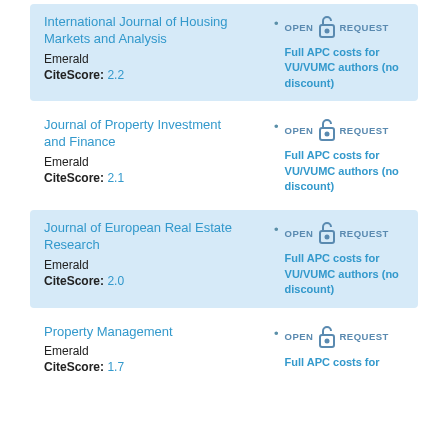International Journal of Housing Markets and Analysis
Emerald
CiteScore: 2.2
Full APC costs for VU/VUMC authors (no discount)
Journal of Property Investment and Finance
Emerald
CiteScore: 2.1
Full APC costs for VU/VUMC authors (no discount)
Journal of European Real Estate Research
Emerald
CiteScore: 2.0
Full APC costs for VU/VUMC authors (no discount)
Property Management
Emerald
CiteScore: 1.7
Full APC costs for